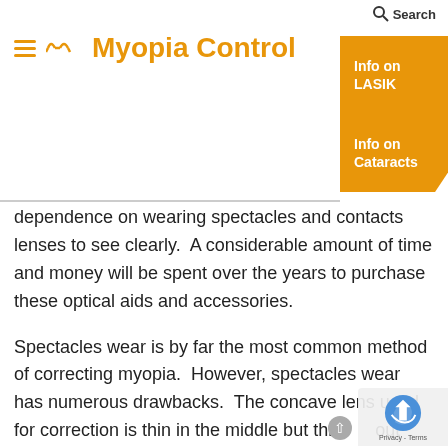Search
Info on LASIK
Info on Cataracts
Myopia Control
dependence on wearing spectacles and contacts lenses to see clearly. A considerable amount of time and money will be spent over the years to purchase these optical aids and accessories.
Spectacles wear is by far the most common method of correcting myopia. However, spectacles wear has numerous drawbacks. The concave lens used for correction is thin in the middle but thickens out considerably at the edges. This, besides being unsightly, induces prismatic optical distortions if the